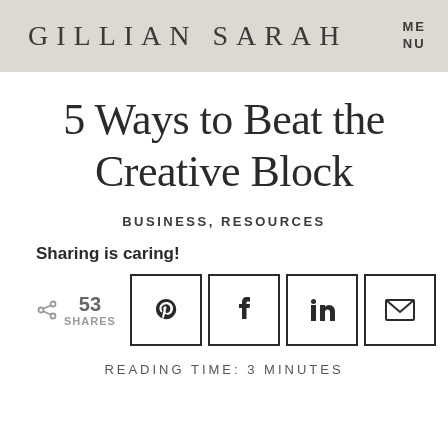GILLIAN SARAH  MENU
5 Ways to Beat the Creative Block
BUSINESS, RESOURCES
Sharing is caring!
53 SHARES
READING TIME: 3 MINUTES